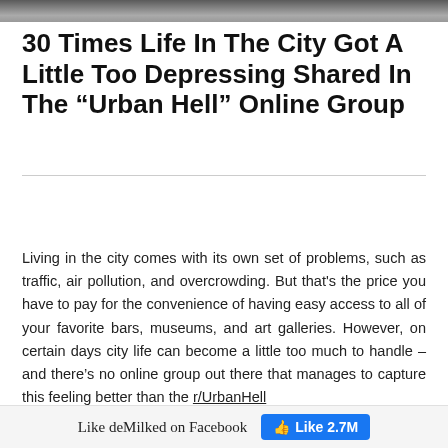[Figure (photo): Top strip of a photograph showing an urban scene, partially cropped]
30 Times Life In The City Got A Little Too Depressing Shared In The “Urban Hell” Online Group
Living in the city comes with its own set of problems, such as traffic, air pollution, and overcrowding. But that's the price you have to pay for the convenience of having easy access to all of your favorite bars, museums, and art galleries. However, on certain days city life can become a little too much to handle – and there’s no online group out there that manages to capture this feeling better than the r/UrbanHell
Like deMilked on Facebook  Like 2.7M